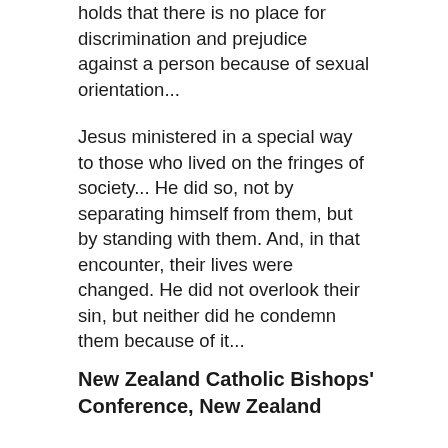holds that there is no place for discrimination and prejudice against a person because of sexual orientation...
Jesus ministered in a special way to those who lived on the fringes of society... He did so, not by separating himself from them, but by standing with them. And, in that encounter, their lives were changed. He did not overlook their sin, but neither did he condemn them because of it...
New Zealand Catholic Bishops' Conference, New Zealand